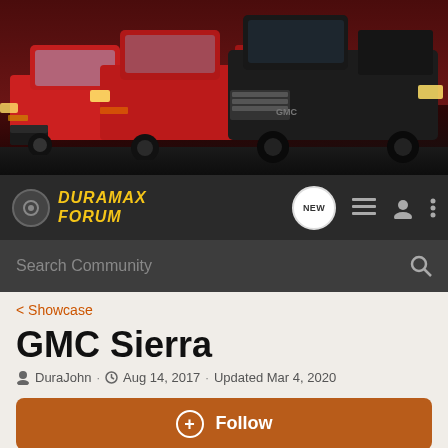[Figure (photo): Banner showing three trucks (Chevrolet Colorado, GMC medium-duty truck, and large black GMC Sierra) against a reddish/dark background — Duramax Forum header image]
DURAMAX FORUM — navigation bar with NEW badge, list icon, user icon, menu icon, and Search Community search bar
< Showcase
GMC Sierra
DuraJohn · Aug 14, 2017 · Updated Mar 4, 2020
+ Follow
Hey Everyone! Enter your ride HERE to be a part of